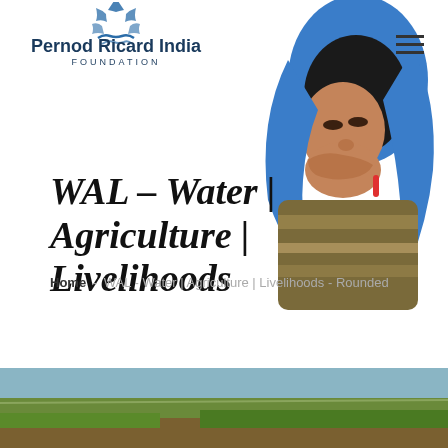[Figure (logo): Pernod Ricard India Foundation logo with decorative sun/wave icon above the text]
[Figure (illustration): Illustration of a woman wearing a blue headscarf and brown striped jacket, covering her mouth with her hand]
WAL - Water | Agriculture | Livelihoods
Home - WAL - Water | Agriculture | Livelihoods - Rounded
[Figure (photo): Landscape photograph showing agricultural fields, likely in rural India]